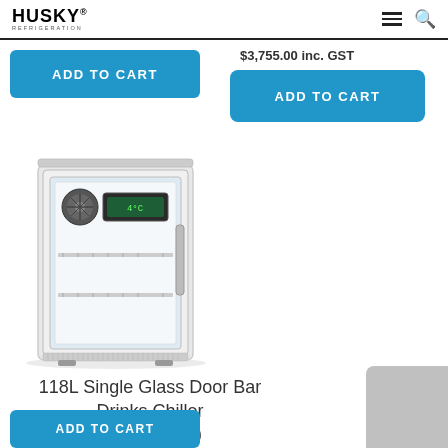HUSKY Refrigeration
$3,755.00 inc. GST
ADD TO CART
ADD TO CART
[Figure (photo): 118L Single Glass Door Bar Drinks Chiller refrigerator unit, white body with glass front door, showing internal shelving and fan unit]
118L Single Glass Door Bar Drinks Chiller
HUS-C1-840
$1,499.00 inc. GST
ADD TO CART